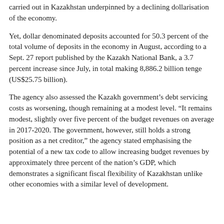carried out in Kazakhstan underpinned by a declining dollarisation of the economy.
Yet, dollar denominated deposits accounted for 50.3 percent of the total volume of deposits in the economy in August, according to a Sept. 27 report published by the Kazakh National Bank, a 3.7 percent increase since July, in total making 8,886.2 billion tenge (US$25.75 billion).
The agency also assessed the Kazakh government's debt servicing costs as worsening, though remaining at a modest level. “It remains modest, slightly over five percent of the budget revenues on average in 2017-2020. The government, however, still holds a strong position as a net creditor,” the agency stated emphasising the potential of a new tax code to allow increasing budget revenues by approximately three percent of the nation’s GDP, which demonstrates a significant fiscal flexibility of Kazakhstan unlike other economies with a similar level of development.